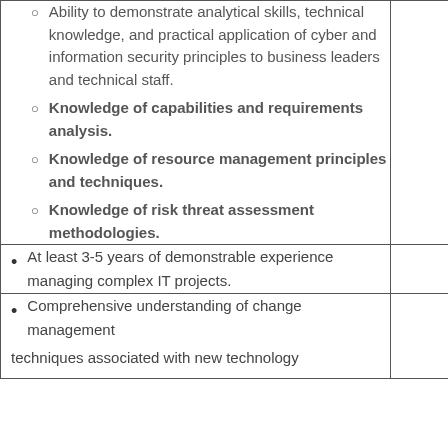Ability to demonstrate analytical skills, technical knowledge, and practical application of cyber and information security principles to business leaders and technical staff.
Knowledge of capabilities and requirements analysis.
Knowledge of resource management principles and techniques.
Knowledge of risk threat assessment methodologies.
At least 3-5 years of demonstrable experience managing complex IT projects.
Comprehensive understanding of change management
techniques associated with new technology